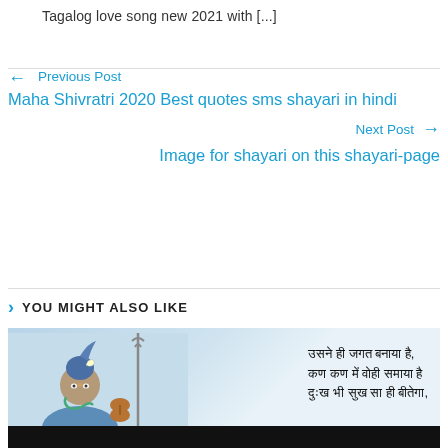Tagalog love song new 2021 with [...]
← Previous Post
Maha Shivratri 2020 Best quotes sms shayari in hindi
Next Post →
Image for shayari on this shayari-page
YOU MIGHT ALSO LIKE
[Figure (photo): Image of Lord Shiva with Hindi text overlay reading devotional shayari lines, with a dark bar at the bottom]